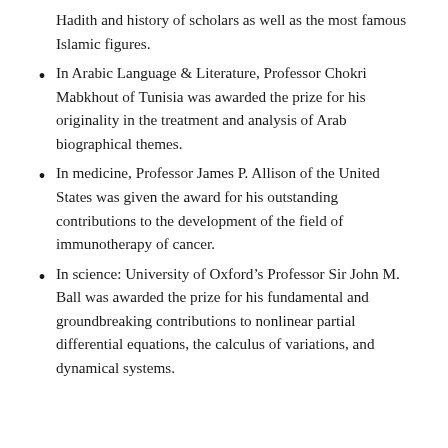Hadith and history of scholars as well as the most famous Islamic figures.
In Arabic Language & Literature, Professor Chokri Mabkhout of Tunisia was awarded the prize for his originality in the treatment and analysis of Arab biographical themes.
In medicine, Professor James P. Allison of the United States was given the award for his outstanding contributions to the development of the field of immunotherapy of cancer.
In science: University of Oxford's Professor Sir John M. Ball was awarded the prize for his fundamental and groundbreaking contributions to nonlinear partial differential equations, the calculus of variations, and dynamical systems.